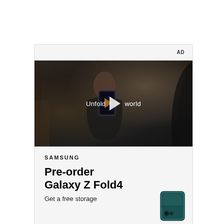AD
[Figure (photo): Samsung video ad thumbnail showing a woman holding a Samsung Galaxy Z Fold4 phone inside a car interior, with text overlay 'Unfold your world' and a play button]
SAMSUNG
Pre-order Galaxy Z Fold4
Get a free storage